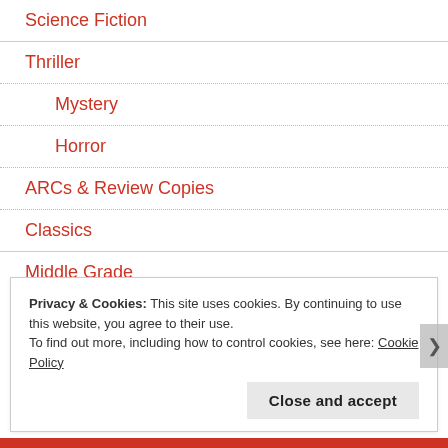Science Fiction
Thriller
Mystery
Horror
ARCs & Review Copies
Classics
Middle Grade
Privacy & Cookies: This site uses cookies. By continuing to use this website, you agree to their use.
To find out more, including how to control cookies, see here: Cookie Policy
Close and accept